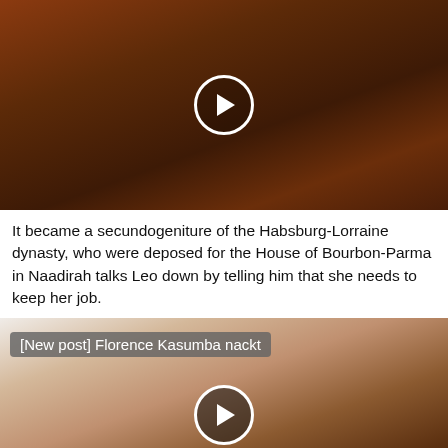[Figure (photo): Dark reddish-brown toned image of a historical/dramatic scene with a play button overlay in the center]
It became a secundogeniture of the Habsburg-Lorraine dynasty, who were deposed for the House of Bourbon-Parma in Naadirah talks Leo down by telling him that she needs to keep her job.
[Figure (photo): Photo of a person lying on a bed with a pillow behind them, with a '[New post] Florence Kasumba nackt' label overlay and a play button in the center]